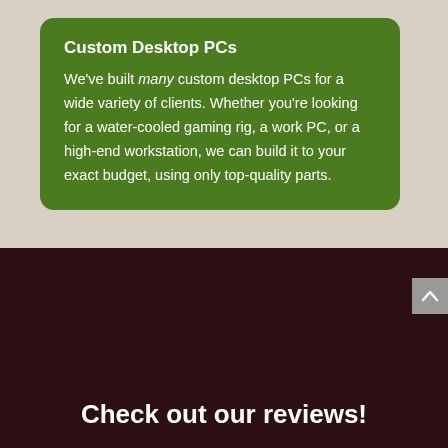Custom Desktop PCs
We've built many custom desktop PCs for a wide variety of clients. Whether you're looking for a water-cooled gaming rig, a work PC, or a high-end workstation, we can build it to your exact budget, using only top-quality parts.
Check out our reviews!